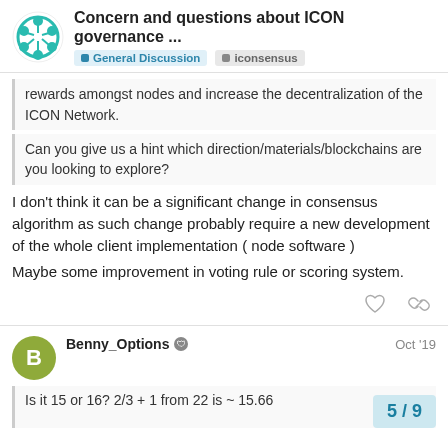Concern and questions about ICON governance ...
rewards amongst nodes and increase the decentralization of the ICON Network.
Can you give us a hint which direction/materials/blockchains are you looking to explore?
I don't think it can be a significant change in consensus algorithm as such change probably require a new development of the whole client implementation ( node software )
Maybe some improvement in voting rule or scoring system.
Benny_Options Oct '19
Is it 15 or 16? 2/3 + 1 from 22 is ~ 15.66
5 / 9